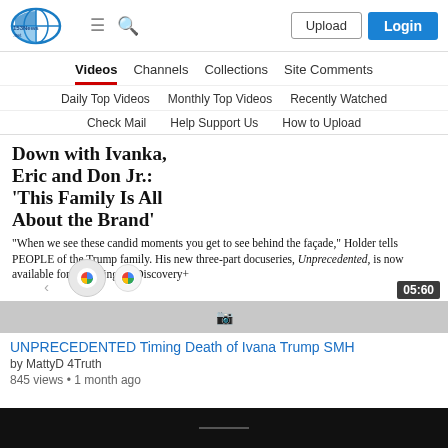153News.net — navigation header with Upload and Login buttons
Videos | Channels | Collections | Site Comments
Daily Top Videos | Monthly Top Videos | Recently Watched
Check Mail | Help Support Us | How to Upload
[Figure (screenshot): Video thumbnail showing newspaper headline: "Down with Ivanka, Eric and Don Jr.: 'This Family Is All About the Brand'" with subtext quote about candid moments and Unprecedented docuseries on Discovery+, with Google logos and 05:60 duration badge]
UNPRECEDENTED Timing Death of Ivana Trump SMH
by MattyD 4Truth
845 views • 1 month ago
[Figure (screenshot): Black video player strip at bottom of page]